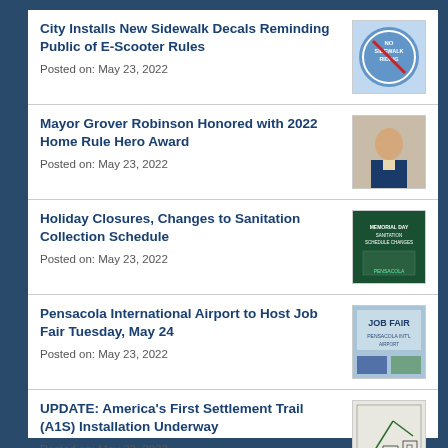City Installs New Sidewalk Decals Reminding Public of E-Scooter Rules
Posted on: May 23, 2022
Mayor Grover Robinson Honored with 2022 Home Rule Hero Award
Posted on: May 23, 2022
Holiday Closures, Changes to Sanitation Collection Schedule
Posted on: May 23, 2022
Pensacola International Airport to Host Job Fair Tuesday, May 24
Posted on: May 23, 2022
UPDATE: America's First Settlement Trail (A1S) Installation Underway
Posted on: May 23, 2022